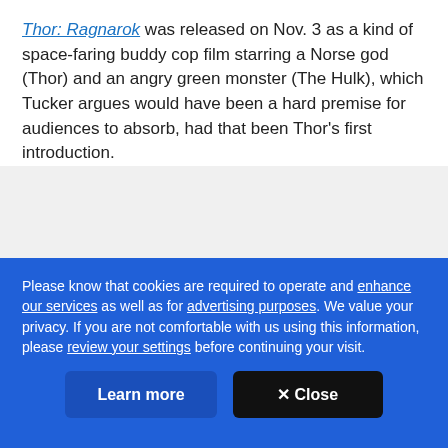Thor: Ragnarok was released on Nov. 3 as a kind of space-faring buddy cop film starring a Norse god (Thor) and an angry green monster (The Hulk), which Tucker argues would have been a hard premise for audiences to absorb, had that been Thor's first introduction.
[Figure (screenshot): YouTube video thumbnail showing the Marvel 'Thor: Ragnarok' Official Trailer with the Marvel logo circle on the left and video title text.]
Please know that cookies are required to operate and enhance our services as well as for advertising purposes. We value your privacy. If you are not comfortable with us using this information, please review your settings before continuing your visit.